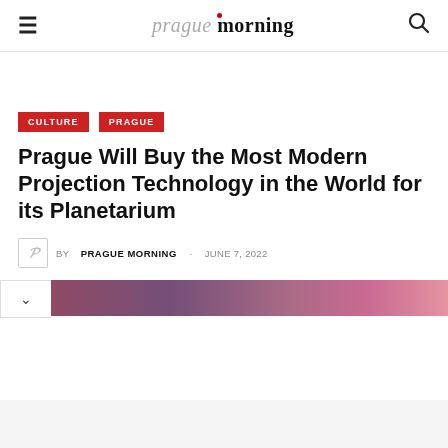prague morning
CULTURE  PRAGUE
Prague Will Buy the Most Modern Projection Technology in the World for its Planetarium
BY PRAGUE MORNING · JUNE 7, 2022
[Figure (photo): Partial colorful horizontal image strip at bottom of header area]